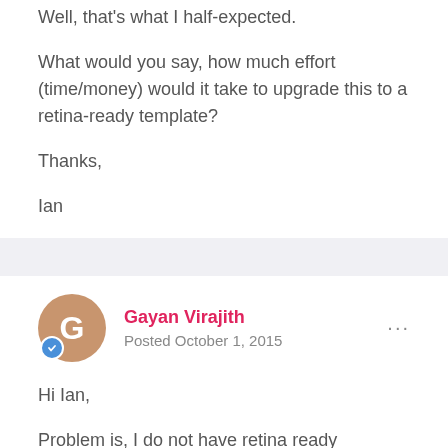Well, that's what I half-expected.
What would you say, how much effort (time/money) would it take to upgrade this to a retina-ready template?
Thanks,
Ian
Gayan Virajith
Posted October 1, 2015
Hi Ian,
Problem is, I do not have retina ready hardware to work on :(